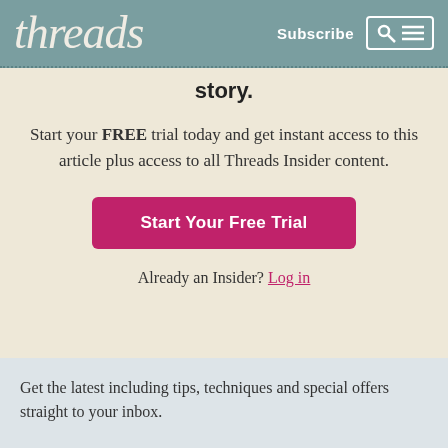threads   Subscribe
story.
Start your FREE trial today and get instant access to this article plus access to all Threads Insider content.
Start Your Free Trial
Already an Insider? Log in
Get the latest including tips, techniques and special offers straight to your inbox.